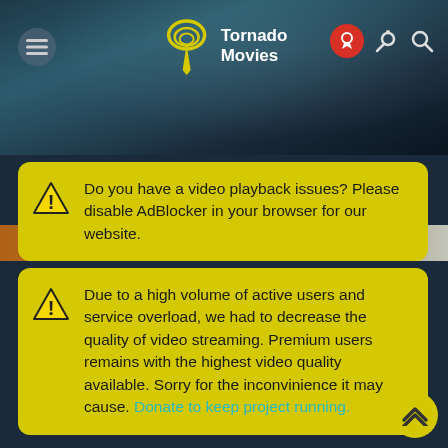[Figure (screenshot): Tornado Movies website header with logo, menu button, and top navigation icons on a dark stormy background]
Do you have a video playback issues? Please disable AdBlocker in your browser for our website.
Due to a high volume of active users and service overload, we had to decrease the quality of video streaming. Premium users remains with the highest video quality available. Sorry for the inconvinience it may cause. Donate to keep project running.